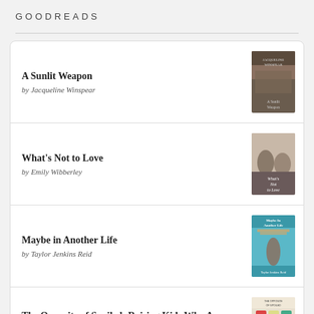GOODREADS
A Sunlit Weapon by Jacqueline Winspear
What's Not to Love by Emily Wibberley
Maybe in Another Life by Taylor Jenkins Reid
The Opposite of Spoiled: Raising Kids Who Are Grounded, Generous, and Smart About Money by Ron Lieber